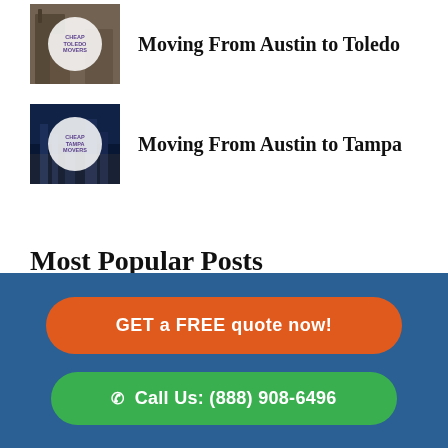[Figure (photo): Thumbnail image for Moving From Austin to Toledo post with circular badge reading CHEAP TOLEDO MOVERS]
Moving From Austin to Toledo
[Figure (photo): Thumbnail image for Moving From Austin to Tampa post with circular badge reading CHEAP TAMPA MOVERS]
Moving From Austin to Tampa
Most Popular Posts
[Figure (photo): Partial thumbnail for a popular post, showing a person]
GET a FREE quote now!
Call Us: (888) 908-6496